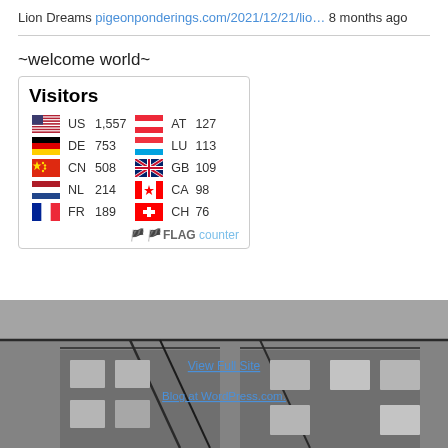Lion Dreams pigeonponderings.com/2021/12/21/lio… 8 months ago
~welcome world~
[Figure (other): Flag counter widget showing Visitors from various countries: US 1,557 | DE 753 | CN 508 | NL 214 | FR 189 | AT 127 | LU 113 | GB 109 | CA 98 | CH 76, with FLAG counter logo at bottom]
[Figure (photo): Black and white photograph of a building exterior with fire escapes and windows]
View Full Site
Blog at WordPress.com.